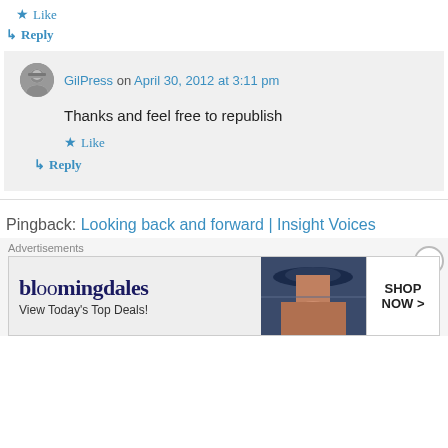★ Like
↳ Reply
GilPress on April 30, 2012 at 3:11 pm
Thanks and feel free to republish
★ Like
↳ Reply
Pingback: Looking back and forward | Insight Voices
Advertisements
[Figure (photo): Bloomingdales advertisement banner with woman in hat and Shop Now button]